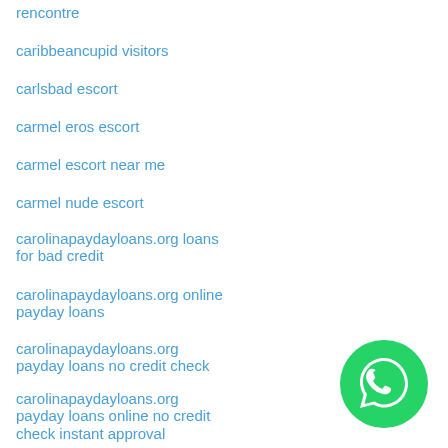rencontre
caribbeancupid visitors
carlsbad escort
carmel eros escort
carmel escort near me
carmel nude escort
carolinapaydayloans.org loans for bad credit
carolinapaydayloans.org online payday loans
carolinapaydayloans.org payday loans no credit check
carolinapaydayloans.org payday loans online no credit check instant approval
carolinapaydayloans.org payday loans online same day
[Figure (logo): WhatsApp green circular button with phone handset icon]